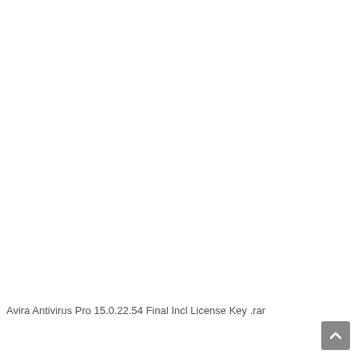Avira Antivirus Pro 15.0.22.54 Final Incl License Key .rar